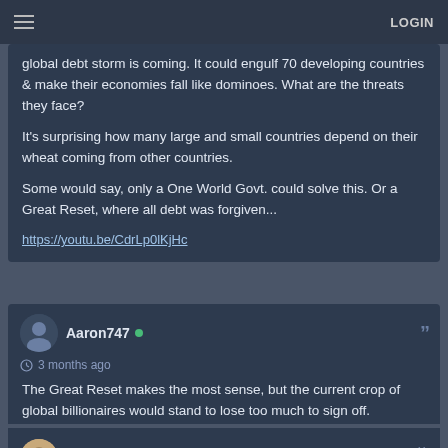LOGIN
global debt storm is coming. It could engulf 70 developing countries & make their economies fall like dominoes. What are the threats they face?

It's surprising how many large and small countries depend on their wheat coming from other countries.

Some would say, only a One World Govt. could solve this. Or a Great Reset, where all debt was forgiven...

https://youtu.be/CdrLp0lKjHc
Aaron747 • 3 months ago
The Great Reset makes the most sense, but the current crop of global billionaires would stand to lose too much to sign off.
ACDC8